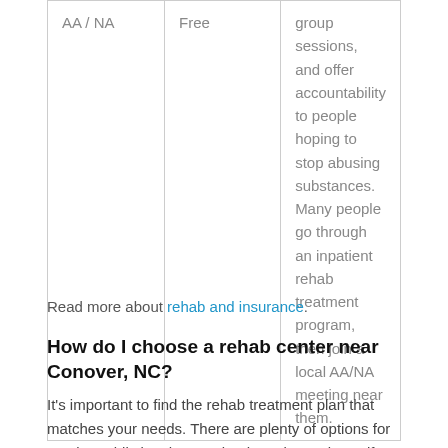| Type | Cost | Description |
| --- | --- | --- |
| AA / NA | Free | group sessions, and offer accountability to people hoping to stop abusing substances. Many people go through an inpatient rehab treatment program, then join a local AA/NA meeting near them. |
Read more about rehab and insurance.
How do I choose a rehab center near Conover, NC?
It’s important to find the rehab treatment plan that matches your needs. There are plenty of options for starting addiction therapy, but how do you know if one program is the right fit for